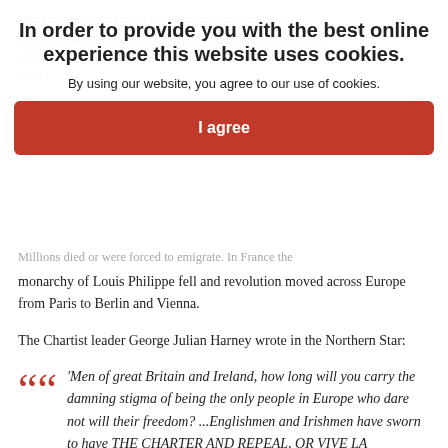unto famine by the failure of the potato crop, and, more importantly, because of the devastating effect of growing cash crops for export. Ireland was exporting food as poor farmers were...
In order to provide you with the best online experience this website uses cookies.
By using our website, you agree to our use of cookies.
I agree
Millions died or were forced to emigrate. In France the monarchy of Louis Philippe fell and revolution moved across Europe from Paris to Berlin and Vienna.
The Chartist leader George Julian Harney wrote in the Northern Star:
‘Men of great Britain and Ireland, how long will you carry the damning stigma of being the only people in Europe who dare not will their freedom? ...Englishmen and Irishmen have sworn to have THE CHARTER AND REPEAL, OR VIVE LA REPUBLIQUE.’